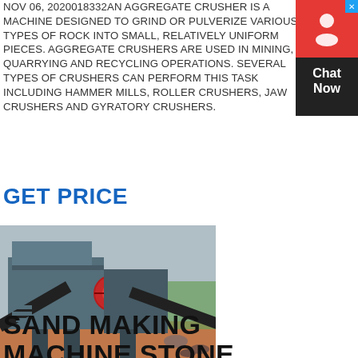NOV 06, 2020018332AN AGGREGATE CRUSHER IS A MACHINE DESIGNED TO GRIND OR PULVERIZE VARIOUS TYPES OF ROCK INTO SMALL, RELATIVELY UNIFORM PIECES. AGGREGATE CRUSHERS ARE USED IN MINING, QUARRYING AND RECYCLING OPERATIONS. SEVERAL TYPES OF CRUSHERS CAN PERFORM THIS TASK INCLUDING HAMMER MILLS, ROLLER CRUSHERS, JAW CRUSHERS AND GYRATORY CRUSHERS.
GET PRICE
[Figure (photo): Photograph of an aggregate crusher / jaw crusher machine at an outdoor quarry site. The machine is large, industrial grey and blue, with conveyor belts on either side. Red circular flywheel visible. Background shows trees and red/brown dirt ground.]
SAND MAKING MACHINE STONE